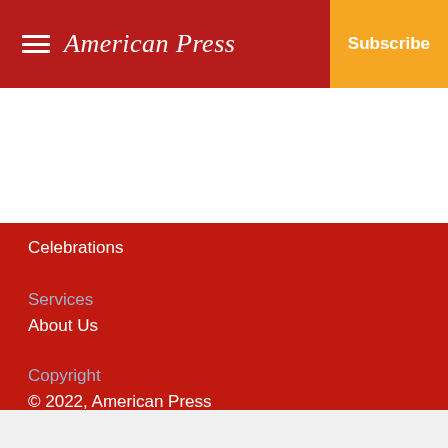American Press
Subscribe
Celebrations
Services
About Us
Copyright
© 2022, American Press